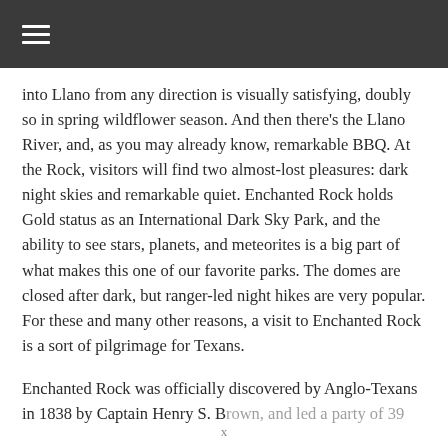≡
into Llano from any direction is visually satisfying, doubly so in spring wildflower season. And then there's the Llano River, and, as you may already know, remarkable BBQ. At the Rock, visitors will find two almost-lost pleasures: dark night skies and remarkable quiet. Enchanted Rock holds Gold status as an International Dark Sky Park, and the ability to see stars, planets, and meteorites is a big part of what makes this one of our favorite parks. The domes are closed after dark, but ranger-led night hikes are very popular. For these and many other reasons, a visit to Enchanted Rock is a sort of pilgrimage for Texans.
Enchanted Rock was officially discovered by Anglo-Texans in 1838 by Captain Henry S. Brown...
x